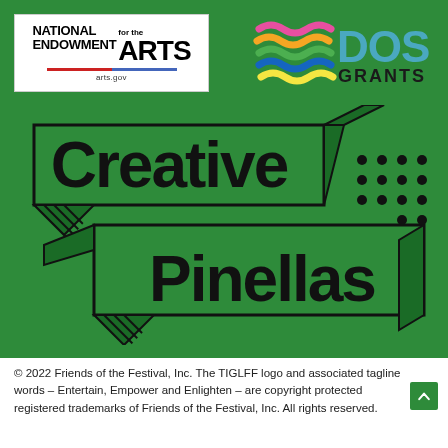[Figure (logo): National Endowment for the Arts logo with arts.gov URL]
[Figure (logo): DOS Grants logo with colorful wave graphic and teal/dark text]
[Figure (logo): Creative Pinellas logo: bold black text on ribbon/banner shapes on green background with decorative dots and hatching]
© 2022 Friends of the Festival, Inc. The TIGLFF logo and associated tagline words – Entertain, Empower and Enlighten – are copyright protected registered trademarks of Friends of the Festival, Inc. All rights reserved.